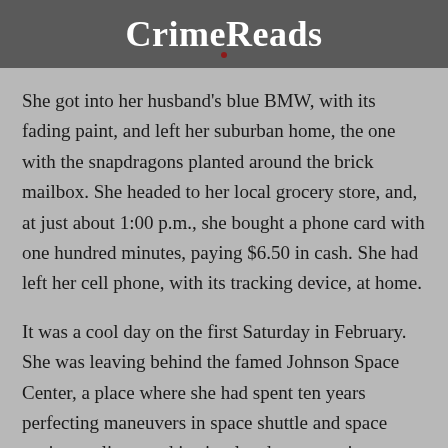CrimeReads
She got into her husband's blue BMW, with its fading paint, and left her suburban home, the one with the snapdragons planted around the brick mailbox. She headed to her local grocery store, and, at just about 1:00 p.m., she bought a phone card with one hundred minutes, paying $6.50 in cash. She had left her cell phone, with its tracking device, at home.
It was a cool day on the first Saturday in February. She was leaving behind the famed Johnson Space Center, a place where she had spent ten years perfecting maneuvers in space shuttle and space station replicas, and in simulated zero gravity, packed into the bulk of a